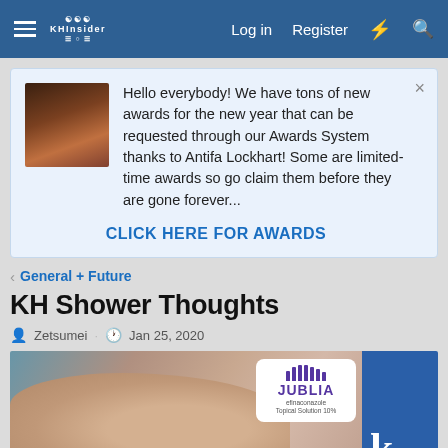KHInsider Forum — Log in | Register
Hello everybody! We have tons of new awards for the new year that can be requested through our Awards System thanks to Antifa Lockhart! Some are limited-time awards so go claim them before they are gone forever...
CLICK HERE FOR AWARDS
< General + Future
KH Shower Thoughts
Zetsumei · Jan 25, 2020
[Figure (photo): Advertisement image showing toes/feet on a surface with a Jublia (efinaconazole topical solution 10%) logo badge in top right, and text 'COULD YOU HAVE' at the bottom. A blue sidebar panel with letter 'k' is visible on the right edge.]